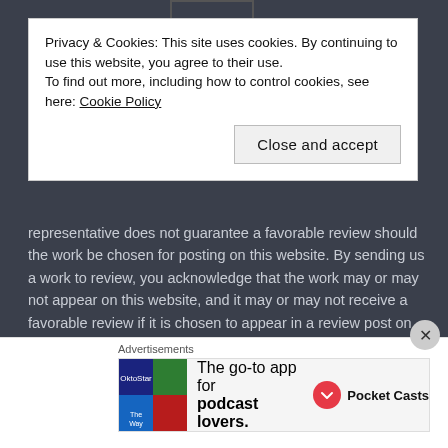Privacy & Cookies: This site uses cookies. By continuing to use this website, you agree to their use.
To find out more, including how to control cookies, see here: Cookie Policy
Close and accept
representative does not guarantee a favorable review should the work be chosen for posting on this website. By sending us a work to review, you acknowledge that the work may or may not appear on this website, and it may or may not receive a favorable review if it is chosen to appear in a review post on this site.
IMPORTANT INFORMATION
Advertisements
The go-to app for podcast lovers.
Pocket Casts